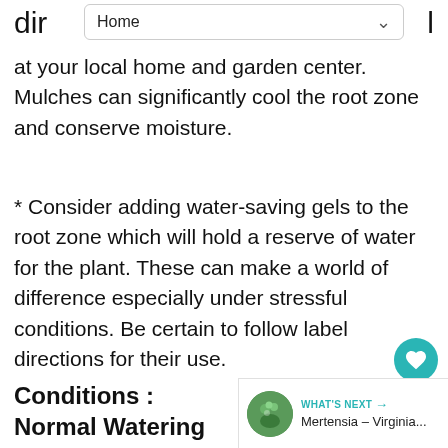dir Home l
at your local home and garden center. Mulches can significantly cool the root zone and conserve moisture.
* Consider adding water-saving gels to the root zone which will hold a reserve of water for the plant. These can make a world of difference especially under stressful conditions. Be certain to follow label directions for their use.
Conditions : Normal Watering for Outdoor Plants